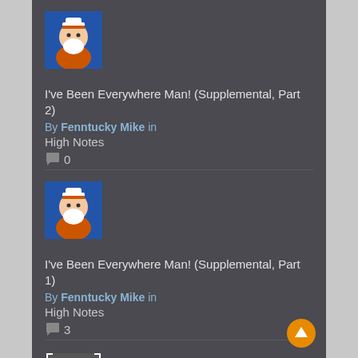[Figure (illustration): Avatar thumbnail showing cartoon character in orange jacket with white beard and hat]
I've Been Everywhere Man! (Supplemental, Part 2)
By Fenntucky Mike in
High Notes
0
[Figure (illustration): Avatar thumbnail showing cartoon character in orange jacket with white beard and hat]
I've Been Everywhere Man! (Supplemental, Part 1)
By Fenntucky Mike in
High Notes
3
[Figure (photo): Coin thumbnail showing a Mexico state coin, grayscale]
Mexico State No. 4
By ColonialCoinsUK in
Bancos & Revolution
5